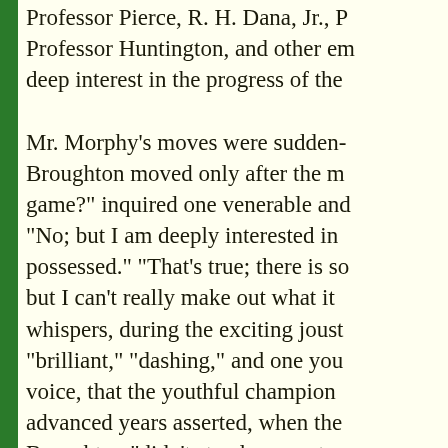Professor Pierce, R. H. Dana, Jr., Professor Huntington, and other eminent men deep interest in the progress of the

Mr. Morphy's moves were sudden- Broughton moved only after the m game?" inquired one venerable and "No; but I am deeply interested in possessed." "That's true; there is so but I can't really make out what it whispers, during the exciting joust "brilliant," "dashing," and one you voice, that the youthful champion advanced years asserted, when the Broughton "didn't stand any sort o o'clock, when Mr. Broughton ackn Mr. Morphy was then introduced t and gentlemen, the great majority